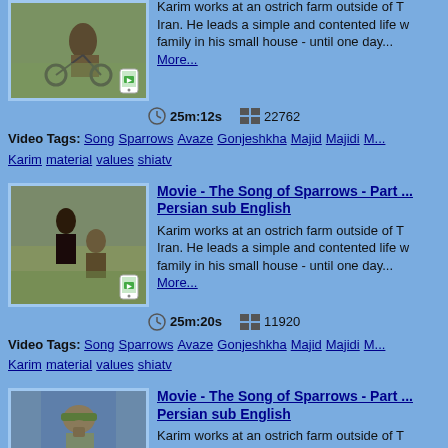[Figure (screenshot): Video thumbnail of man on bicycle, outdoor farm scene with phone icon overlay]
Karim works at an ostrich farm outside of Tehran, Iran. He leads a simple and contented life with his family in his small house - until one day... More...
25m:12s   22762
Video Tags: Song Sparrows Avaze Gonjeshkha Majid Majidi M... Karim material values shiatv
[Figure (screenshot): Video thumbnail of two people outdoors in field with phone icon overlay]
Movie - The Song of Sparrows - Part ... Persian sub English
Karim works at an ostrich farm outside of Tehran, Iran. He leads a simple and contented life with his family in his small house - until one day... More...
25m:20s   11920
Video Tags: Song Sparrows Avaze Gonjeshkha Majid Majidi M... Karim material values shiatv
[Figure (screenshot): Video thumbnail of man in hat near blue backdrop with checkmark icon overlay]
Movie - The Song of Sparrows - Part ... Persian sub English
Karim works at an ostrich farm outside of Tehran, Iran. He leads a simple and contented life with his family in his small house - until one day...